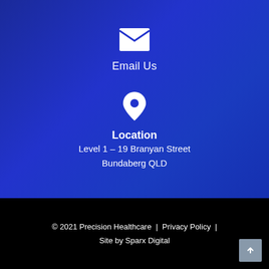[Figure (illustration): White envelope/email icon]
Email Us
[Figure (illustration): White map pin/location icon]
Location
Level 1 – 19 Branyan Street
Bundaberg QLD
© 2021 Precision Healthcare | Privacy Policy | Site by Sparx Digital